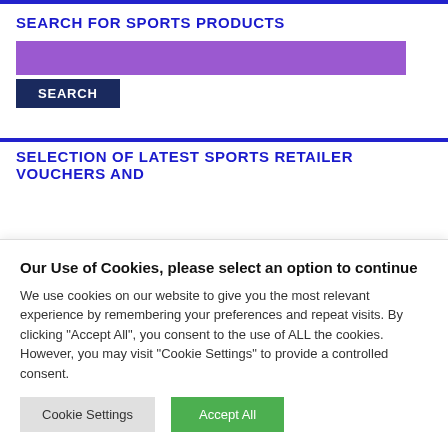SEARCH FOR SPORTS PRODUCTS
[Figure (screenshot): Purple search input bar and dark navy SEARCH button]
SELECTION OF LATEST SPORTS RETAILER VOUCHERS AND
Our Use of Cookies, please select an option to continue
We use cookies on our website to give you the most relevant experience by remembering your preferences and repeat visits. By clicking "Accept All", you consent to the use of ALL the cookies. However, you may visit "Cookie Settings" to provide a controlled consent.
Cookie Settings | Accept All